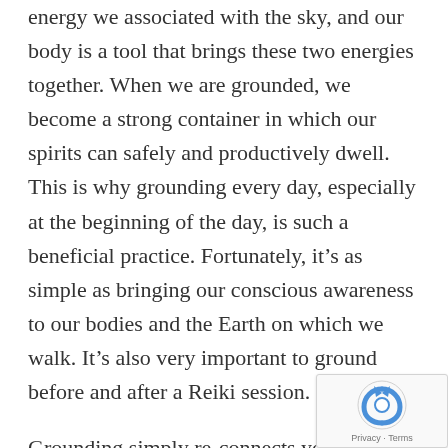energy we associated with the sky, and our body is a tool that brings these two energies together. When we are grounded, we become a strong container in which our spirits can safely and productively dwell. This is why grounding every day, especially at the beginning of the day, is such a beneficial practice. Fortunately, it's as simple as bringing our conscious awareness to our bodies and the Earth on which we walk. It's also very important to ground before and after a Reiki session.
Grounding simply re-connects your body's energy with the energy of the Earth and this is a good practice for everybody as it's very refreshing and
[Figure (other): reCAPTCHA privacy badge in bottom-right corner showing the reCAPTCHA logo and Privacy · Terms text]